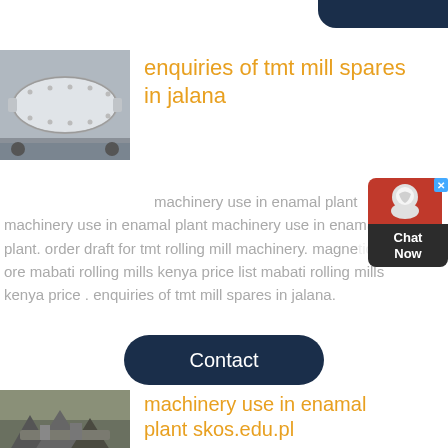[Figure (photo): Industrial ball mill machinery, large cylindrical white/grey vessel]
enquiries of tmt mill spares in jalana
machinery use in enamal plant machinery use in enamal plant machinery use in enamal plant. order draft for tmt rolling mill machinery. magne ore mabati rolling mills kenya price list mabati rolling mills kenya price . enquiries of tmt mill spares in jalana.
[Figure (other): Chat Now widget with red header and dark label]
[Figure (other): Contact button, dark navy rounded rectangle]
[Figure (photo): Mining or quarrying machinery with rock crusher equipment]
machinery use in enamal plant skos.edu.pl